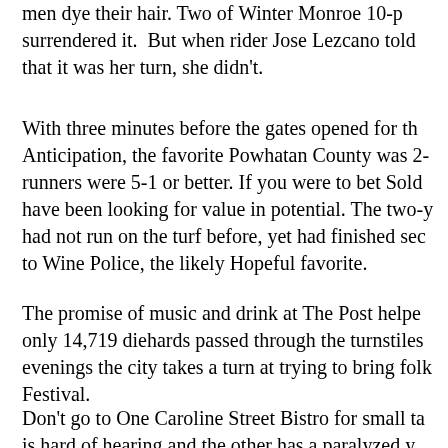men dye their hair. Two of Winter Monroe 10-p surrendered it.  But when rider Jose Lezcano told that it was her turn, she didn't.
With three minutes before the gates opened for th Anticipation, the favorite Powhatan County was 2- runners were 5-1 or better. If you were to bet Sold have been looking for value in potential. The two-y had not run on the turf before, yet had finished sec to Wine Police, the likely Hopeful favorite.
The promise of music and drink at The Post helpe only 14,719 diehards passed through the turnstiles evenings the city takes a turn at trying to bring folk Festival.
Don't go to One Caroline Street Bistro for small ta is hard of hearing and the other has a paralyzed y